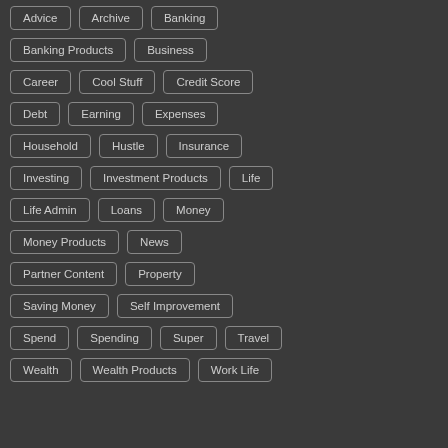Advice
Archive
Banking
Banking Products
Business
Career
Cool Stuff
Credit Score
Debt
Earning
Expenses
Household
Hustle
Insurance
Investing
Investment Products
Life
Life Admin
Loans
Money
Money Products
News
Partner Content
Property
Saving Money
Self Improvement
Spend
Spending
Super
Travel
Wealth
Wealth Products
Work Life